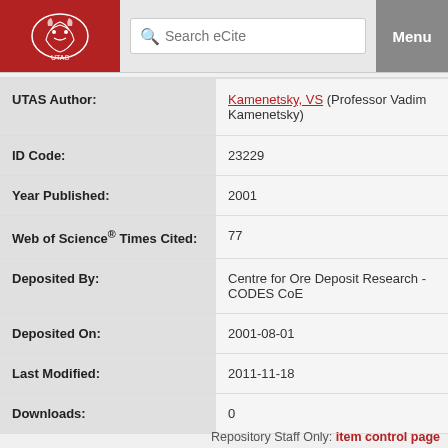Search eCite | Menu
| Field | Value |
| --- | --- |
| UTAS Author: | Kamenetsky, VS (Professor Vadim Kamenetsky) |
| ID Code: | 23229 |
| Year Published: | 2001 |
| Web of Science® Times Cited: | 77 |
| Deposited By: | Centre for Ore Deposit Research - CODES CoE |
| Deposited On: | 2001-08-01 |
| Last Modified: | 2011-11-18 |
| Downloads: | 0 |
Repository Staff Only: item control page